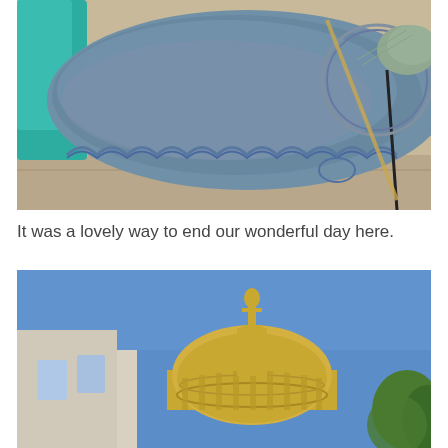[Figure (photo): A knitted or crocheted blue-gray lace shawl laid flat on a light surface, with yarn and knitting needles visible in the upper right.]
It was a lovely way to end our wonderful day here.
[Figure (photo): A golden dome of a capitol building topped with a small statue, photographed from below against a bright blue sky, with tree foliage visible at the right edge.]